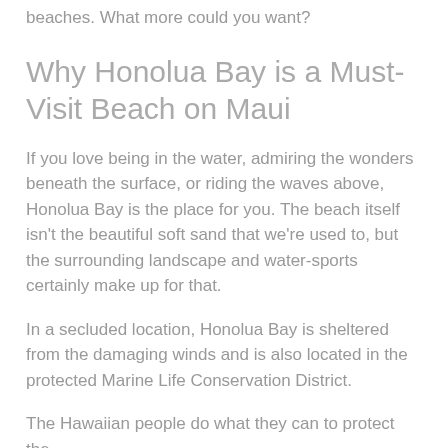beaches. What more could you want?
Why Honolua Bay is a Must-Visit Beach on Maui
If you love being in the water, admiring the wonders beneath the surface, or riding the waves above, Honolua Bay is the place for you. The beach itself isn't the beautiful soft sand that we're used to, but the surrounding landscape and water-sports certainly make up for that.
In a secluded location, Honolua Bay is sheltered from the damaging winds and is also located in the protected Marine Life Conservation District.
The Hawaiian people do what they can to protect the